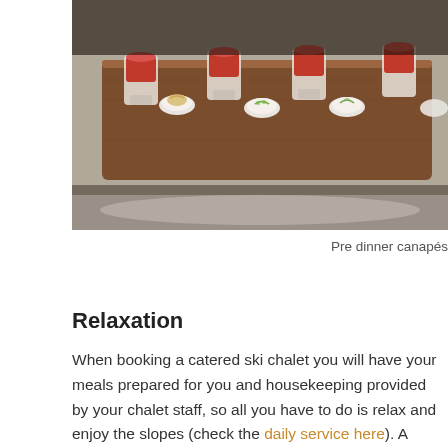[Figure (photo): Photo of pre dinner canapés — shot glasses with red liquid and spoon-shaped vessels with garnishes arranged on a wooden board, viewed from above on a metallic surface.]
Pre dinner canapés
Relaxation
When booking a catered ski chalet you will have your meals prepared for you and housekeeping provided by your chalet staff, so all you have to do is relax and enjoy the slopes (check the daily service here). A catered ski chalet is the perfect choice for those wanting to enjoy restaurant standard meals but in the comfort of your chalet with your own chef who will cook you delicious, freshly prepared meals each day. Your host will ensure that you are relaxed throughout your stay and will be on hand to offer assistance and